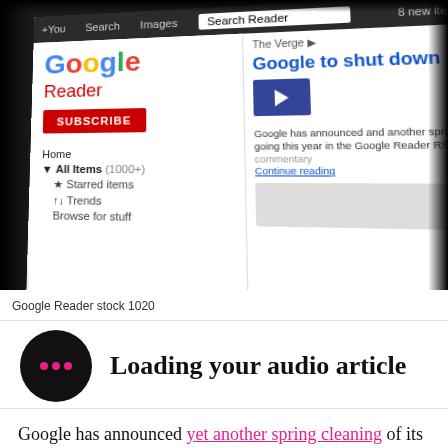[Figure (screenshot): Screenshot of Google Reader interface showing the Google logo, Reader title in red, a red SUBSCRIBE button, navigation items (Home, All Items 1000+, Starred items, Trends, Browse for stuff), and an article from The Verge titled 'Google to shut down Reader RSS ap...' with article thumbnail and text. The interface is shown at an angle on a dark background.]
Google Reader stock 1020
Loading your audio article
Google has announced yet another spring cleaning of its various services, and this time around, the